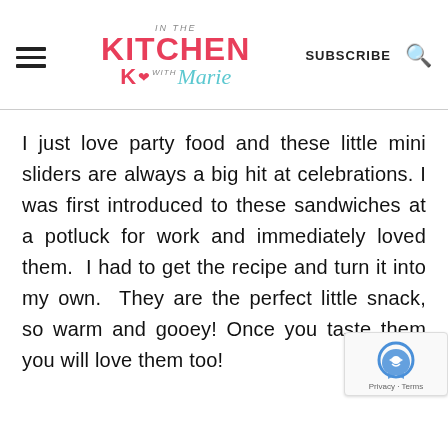IN THE KITCHEN with K❤Marie | SUBSCRIBE
I just love party food and these little mini sliders are always a big hit at celebrations. I was first introduced to these sandwiches at a potluck for work and immediately loved them.  I had to get the recipe and turn it into my own.  They are the perfect little snack, so warm and gooey! Once you taste them you will love them too!